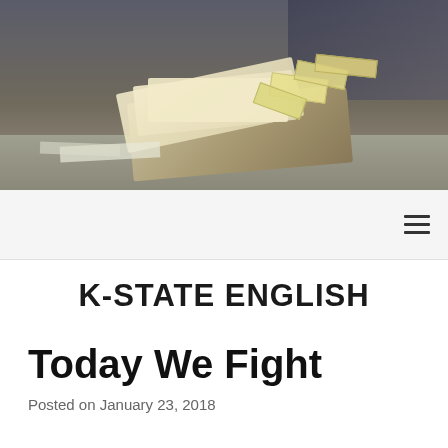[Figure (photo): A photograph of a stack of papers and books with sticky notes/tabs on a desk surface, with a blurred person visible in the background.]
K-STATE ENGLISH
Today We Fight
Posted on January 23, 2018